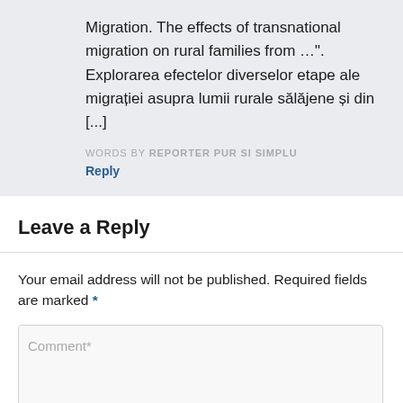Migration. The effects of transnational migration on rural families from …". Explorarea efectelor diverselor etape ale migrației asupra lumii rurale sălăjene și din [...]
WORDS BY REPORTER PUR SI SIMPLU
Reply
Leave a Reply
Your email address will not be published. Required fields are marked *
Comment*